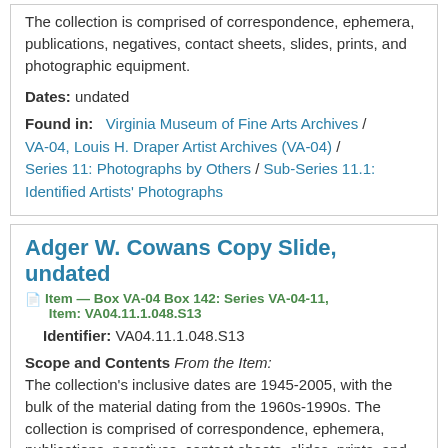The collection is comprised of correspondence, ephemera, publications, negatives, contact sheets, slides, prints, and photographic equipment.
Dates: undated
Found in: Virginia Museum of Fine Arts Archives / VA-04, Louis H. Draper Artist Archives (VA-04) / Series 11: Photographs by Others / Sub-Series 11.1: Identified Artists' Photographs
Adger W. Cowans Copy Slide, undated
Item — Box VA-04 Box 142: Series VA-04-11, Item: VA04.11.1.048.S13
Identifier: VA04.11.1.048.S13
Scope and Contents From the Item: The collection's inclusive dates are 1945-2005, with the bulk of the material dating from the 1960s-1990s. The collection is comprised of correspondence, ephemera, publications, negatives, contact sheets, slides, prints, and photographic equipment.
Dates: undated